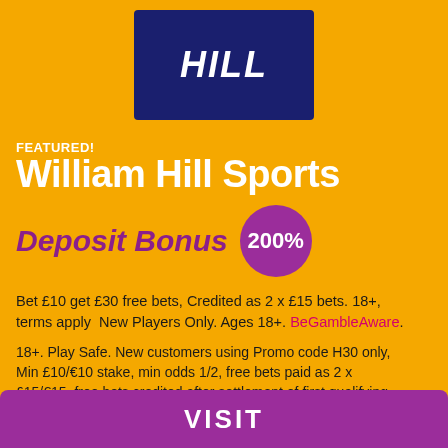[Figure (logo): William Hill logo: dark navy blue rectangle with italic bold white text 'HILL' on orange background]
FEATURED!
William Hill Sports
Deposit Bonus 200%
Bet £10 get £30 free bets, Credited as 2 x £15 bets. 18+, terms apply  New Players Only. Ages 18+. BeGambleAware.
18+. Play Safe. New customers using Promo code H30 only, Min £10/€10 stake, min odds 1/2, free bets paid as 2 x £15/€15, free bets credited after settlement of first qualifying bet, free bets will expire 30 days after the qualifying bet is placed, payment method/player/country restrictions apply. See full terms below. #ad
VISIT